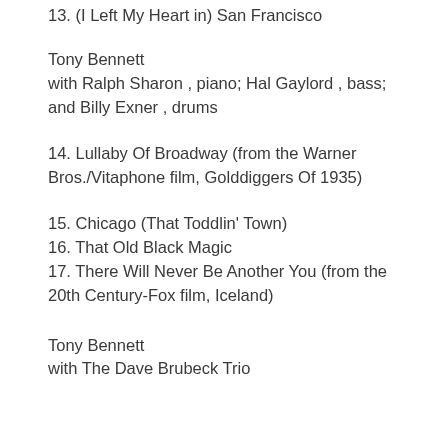13. (I Left My Heart in) San Francisco
Tony Bennett
with Ralph Sharon , piano; Hal Gaylord , bass; and Billy Exner , drums
14. Lullaby Of Broadway (from the Warner Bros./Vitaphone film, Golddiggers Of 1935)
15. Chicago (That Toddlin' Town)
16. That Old Black Magic
17. There Will Never Be Another You (from the 20th Century-Fox film, Iceland)
Tony Bennett
with The Dave Brubeck Trio